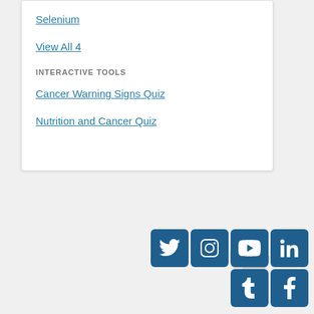Selenium
View All 4
INTERACTIVE TOOLS
Cancer Warning Signs Quiz
Nutrition and Cancer Quiz
[Figure (other): Social media icons: Twitter, Instagram, YouTube, LinkedIn, Tumblr, Facebook]